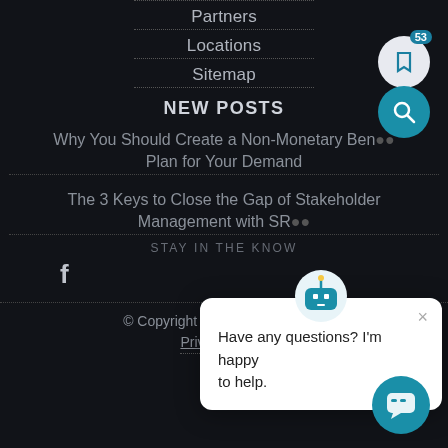Partners
Locations
Sitemap
NEW POSTS
Why You Should Create a Non-Monetary Benefit Plan for Your Demand
The 3 Keys to Close the Gap of Stakeholder Management with SR...
STAY IN THE KNOW
[Figure (other): Facebook social icon]
Have any questions? I'm happy to help.
© Copyright 2022 Cask NX, LLC
Privacy Policy